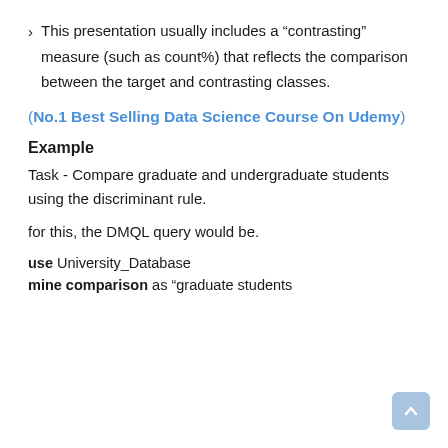This presentation usually includes a “contrasting” measure (such as count%) that reflects the comparison between the target and contrasting classes.
(No.1 Best Selling Data Science Course On Udemy)
Example
Task - Compare graduate and undergraduate students using the discriminant rule.
for this, the DMQL query would be.
use University_Database
mine comparison as “graduate students